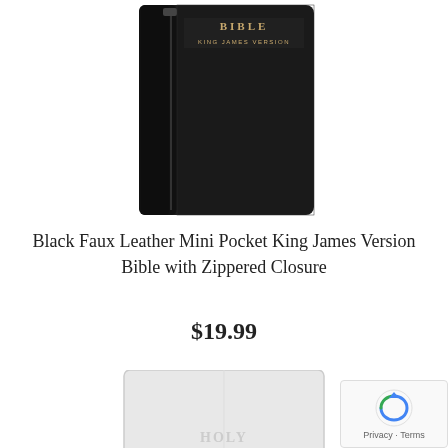[Figure (photo): Black faux leather mini pocket Bible with zippered closure, King James Version, shown closed with zipper visible on left side]
Black Faux Leather Mini Pocket King James Version Bible with Zippered Closure
$19.99
[Figure (photo): White/silver faux leather Holy Bible, partially visible at bottom of page]
[Figure (other): Google reCAPTCHA badge with Privacy and Terms links]